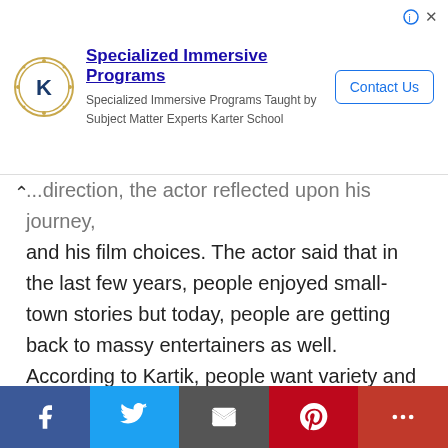[Figure (other): Advertisement banner for Karter School - Specialized Immersive Programs with school logo, contact us button, info and close icons]
...direction, the actor reflected upon his journey, and his film choices. The actor said that in the last few years, people enjoyed small-town stories but today, people are getting back to massy entertainers as well. According to Kartik, people want variety and are not satiated with one kind of cinema. He told the tabloid that the success of KGF 2 , Pushpa and Bhool Bhulaiyaa 2 is a proof to that. Kartik said, "I am a massy person and I love mass entertainers. But I also want my films to be relatable." Citing example of his character from
[Figure (other): Social media sharing bar with Facebook, Twitter, Email, Pinterest, and More buttons]